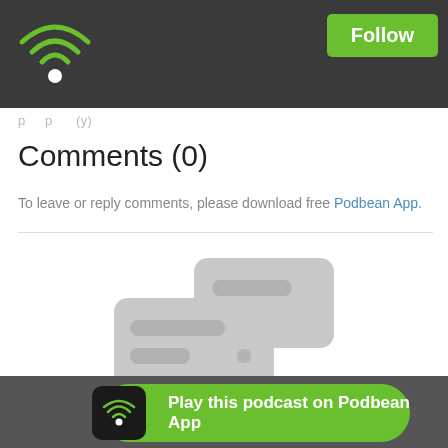Podbean App - Follow
p p (y)
Comments (0)
To leave or reply comments, please download free Podbean App.
[Figure (illustration): Two overlapping speech bubble icons in light gray indicating no comments]
No Comments
Play this podcast on Podbean App